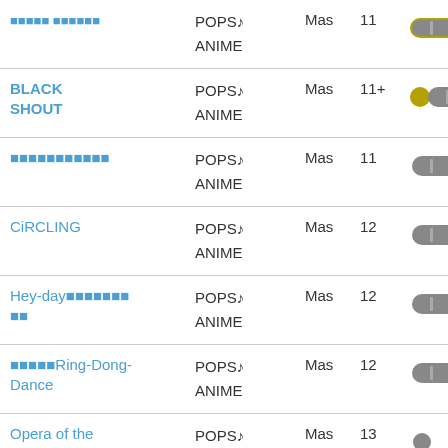| Song | Genre | Diff | Level | Rating |
| --- | --- | --- | --- | --- |
| (Japanese text) | POPS♪ ANIME | Mas | 11 | gray-pill |
| BLACK SHOUT | POPS♪ ANIME | Mas | 11+ | yellow-gray-pill |
| (Japanese text) | POPS♪ ANIME | Mas | 11 | gray-pill |
| CiRCLING | POPS♪ ANIME | Mas | 12 | gray-pill |
| Hey-day(Japanese text) | POPS♪ ANIME | Mas | 12 | gray-pill |
| (Japanese text)Ring-Dong-Dance | POPS♪ ANIME | Mas | 12 | gray-pill |
| Opera of the wasteland | POPS♪ ANIME | Mas | 13 | gray-pill-menu |
| (Japanese text) | POPS♪ | Mas | 13 | gray-pill |